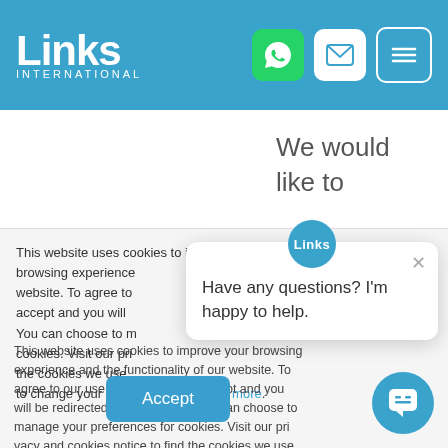Links International
We would like to congratulate Clara Yee from UBS on
This website uses cookies to improve your browsing experience and the functionality of our website. To agree to our use of cookies, click accept and you will be redirected to the website. You can choose to manage your preferences for cookies. Visit our privacy and cookies notice to find the cookies we use and the information to change your preferences. Find out more.
Have any questions? I'm happy to help.
Accept